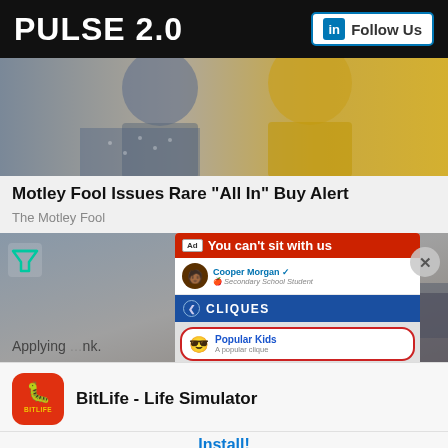PULSE 2.0 | Follow Us
[Figure (photo): Partially visible photo of two people, one in blue dotted shirt and one in yellow top]
Motley Fool Issues Rare "All In" Buy Alert
The Motley Fool
[Figure (screenshot): BitLife ad: 'You can't sit with us' showing cliques interface with Popular Kids and Nerds, with app install card for BitLife - Life Simulator]